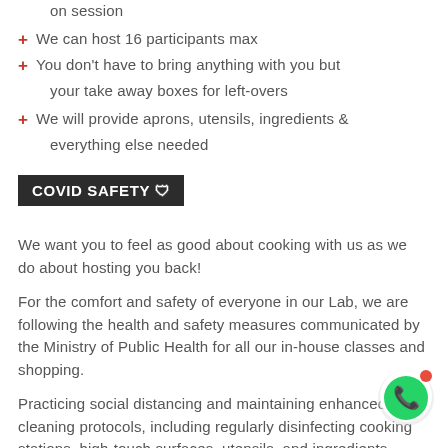on session
We can host 16 participants max
You don't have to bring anything with you but your take away boxes for left-overs
We will provide aprons, utensils, ingredients & everything else needed
COVID SAFETY 🛡
We want you to feel as good about cooking with us as we do about hosting you back!
For the comfort and safety of everyone in our Lab, we are following the health and safety measures communicated by the Ministry of Public Health for all our in-house classes and shopping.
Practicing social distancing and maintaining enhanced cleaning protocols, including regularly disinfecting cooking stations, high-touch surfaces, utensils, and ingredients.
For more info on all our classes, please check our